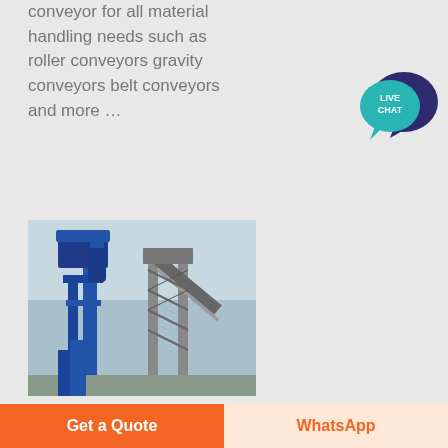conveyor for all material handling needs such as roller conveyors gravity conveyors belt conveyors and more …
[Figure (other): Live chat speech bubble widget with teal/dark blue colors and white text reading LIVE CHAT]
[Figure (photo): Industrial conveyor and material handling equipment with blue pipes and steel structures against a sky background]
Get a Quote
WhatsApp